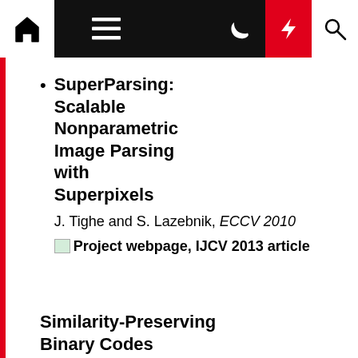Navigation bar with home, menu, dark mode, bolt, and search icons
SuperParsing: Scalable Nonparametric Image Parsing with Superpixels
J. Tighe and S. Lazebnik, ECCV 2010
Project webpage, IJCV 2013 article
Similarity-Preserving Binary Codes